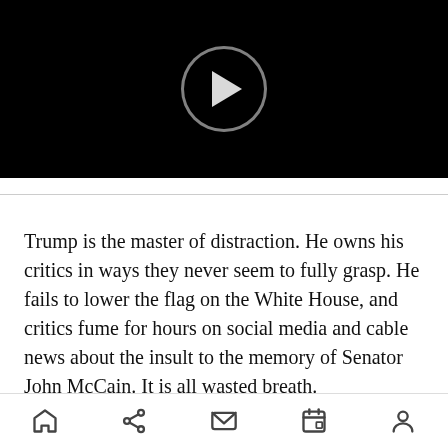[Figure (screenshot): Black video player with a circular play button (white triangle inside a semi-transparent circle) centered on a black background.]
Trump is the master of distraction. He owns his critics in ways they never seem to fully grasp. He fails to lower the flag on the White House, and critics fume for hours on social media and cable news about the insult to the memory of Senator John McCain. It is all wasted breath.
[Figure (screenshot): Mobile navigation bar with five icons: home, share, mail, calendar/bookmark, and profile/person.]